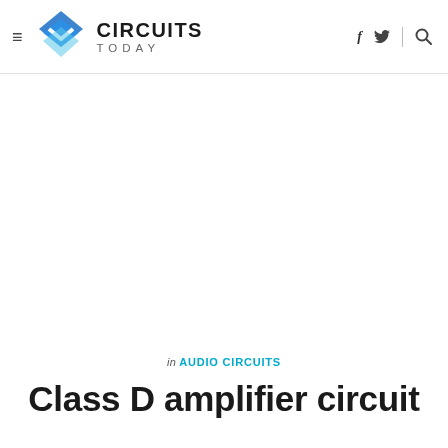Circuits Today — CIRCUITS TODAY
in AUDIO CIRCUITS
Class D amplifier circuit